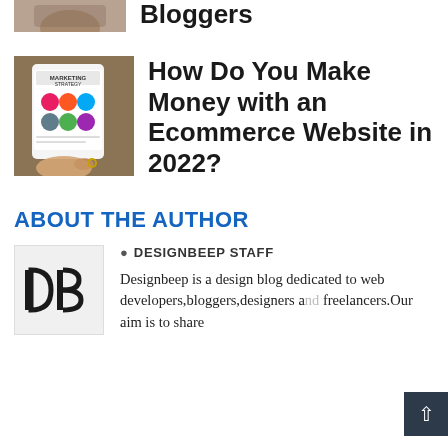Bloggers
[Figure (photo): Partial thumbnail image of a person, cropped at top]
[Figure (photo): Tablet showing a marketing strategy diagram with colorful circular icons]
How Do You Make Money with an Ecommerce Website in 2022?
ABOUT THE AUTHOR
[Figure (logo): DB logo on light grey background - Designbeep Staff author avatar]
DESIGNBEEP STAFF
Designbeep is a design blog dedicated to web developers,bloggers,designers and freelancers.Our aim is to share